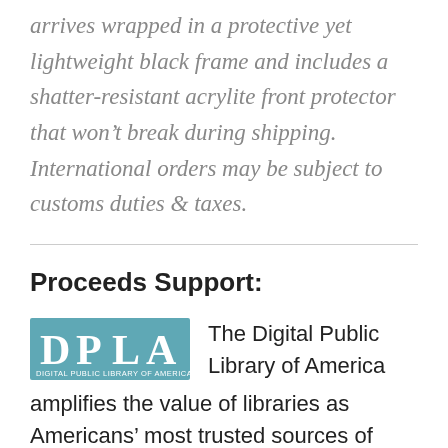arrives wrapped in a protective yet lightweight black frame and includes a shatter-resistant acrylite front protector that won't break during shipping. International orders may be subject to customs duties & taxes.
Proceeds Support:
[Figure (logo): DPLA – Digital Public Library of America logo, teal/blue rectangle with letters D P L A and text 'DIGITAL PUBLIC LIBRARY OF AMERICA' below]
The Digital Public Library of America amplifies the value of libraries as Americans' most trusted sources of shared knowledge. They do this by proactively collaborating with partners